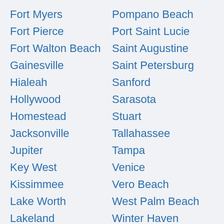Fort Myers
Fort Pierce
Fort Walton Beach
Gainesville
Hialeah
Hollywood
Homestead
Jacksonville
Jupiter
Key West
Kissimmee
Lake Worth
Lakeland
Pompano Beach
Port Saint Lucie
Saint Augustine
Saint Petersburg
Sanford
Sarasota
Stuart
Tallahassee
Tampa
Venice
Vero Beach
West Palm Beach
Winter Haven